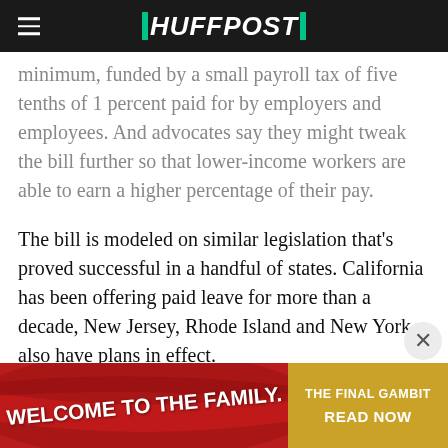HUFFPOST
minimum, funded by a small payroll tax of five tenths of 1 percent paid for by employers and employees. And advocates say they might tweak the bill further so that lower-income workers are able to earn a higher percentage of their pay.
The bill is modeled on similar legislation that's proved successful in a handful of states. California has been offering paid leave for more than a decade, New Jersey, Rhode Island and New York also have plans in effect.
Contrary to initial dire warnings from
[Figure (advertisement): Advertisement banner: red left side with 'WELCOME TO THE FAMILY.' text, gold/yellow right side with 'THE FINAL GAMBIT READ NOW']